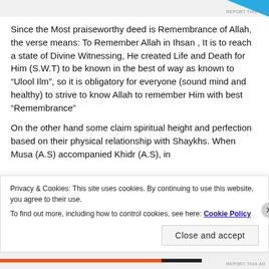Since the Most praiseworthy deed is Remembrance of Allah, the verse means: To Remember Allah in Ihsan , It is to reach a state of Divine Witnessing, He created Life and Death for Him (S.W.T) to be known in the best of way as known to “Ulool Ilm”, so it is obligatory for everyone (sound mind and healthy) to strive to know Allah to remember Him with best “Remembrance”
On the other hand some claim spiritual height and perfection based on their physical relationship with Shaykhs. When Musa (A.S) accompanied Khidr (A.S), in
Privacy & Cookies: This site uses cookies. By continuing to use this website, you agree to their use.
To find out more, including how to control cookies, see here: Cookie Policy